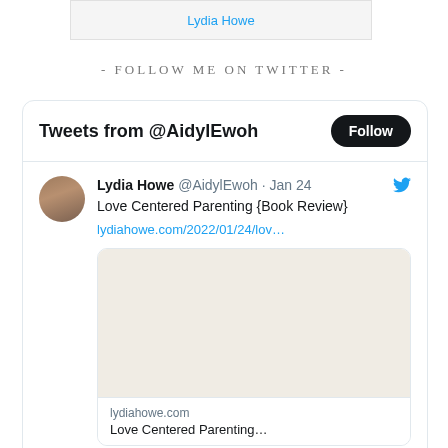Lydia Howe
- FOLLOW ME ON TWITTER -
[Figure (screenshot): Twitter widget showing tweets from @AidylEwoh (Lydia Howe) with a Follow button. One tweet visible: 'Love Centered Parenting {Book Review}' with link lydiahowe.com/2022/01/24/lov... posted Jan 24. Below the tweet is a card with lydiahowe.com domain and partial title.]